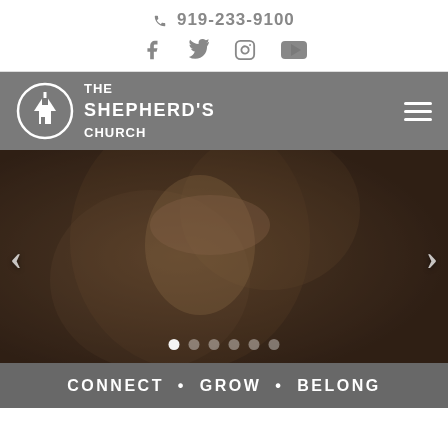919-233-9100
[Figure (other): Social media icons: Facebook, Twitter, Instagram, YouTube]
[Figure (logo): The Shepherd's Church logo with church tower icon in a circle, white text on grey background]
[Figure (photo): Hero image carousel showing a close-up of people, dark muted tones, with left and right navigation arrows and 6 carousel dots at the bottom]
CONNECT • GROW • BELONG